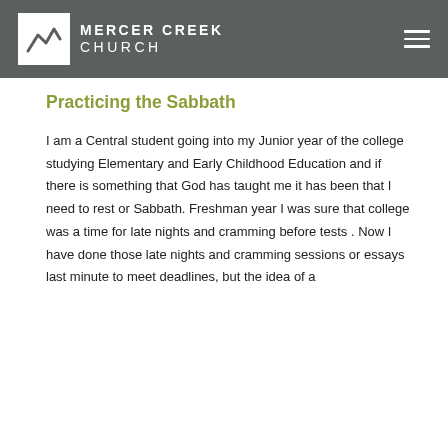MERCER CREEK CHURCH
Practicing the Sabbath
I am a Central student going into my Junior year of the college studying Elementary and Early Childhood Education and if there is something that God has taught me it has been that I need to rest or Sabbath. Freshman year I was sure that college was a time for late nights and cramming before tests . Now I have done those late nights and cramming sessions or essays last minute to meet deadlines, but the idea of a